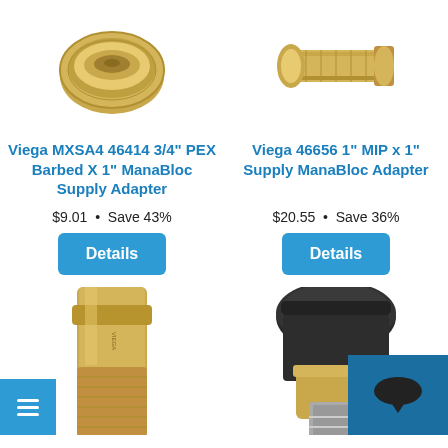[Figure (photo): Brass Viega MXSA4 46414 3/4 PEX barbed x 1 inch ManaBloc supply adapter fitting, top-down view]
[Figure (photo): Brass Viega 46656 1 inch MIP x 1 inch Supply ManaBloc adapter fitting, side view]
Viega MXSA4 46414 3/4" PEX Barbed X 1" ManaBloc Supply Adapter
Viega 46656 1" MIP x 1" Supply ManaBloc Adapter
$9.01  •  Save 43%
$20.55  •  Save 36%
Details
Details
[Figure (photo): Brass Viega threaded pipe adapter fitting, cylindrical shape, bottom portion]
[Figure (photo): Black and brass Viega ManaBloc adapter with press fitting connection, side view]